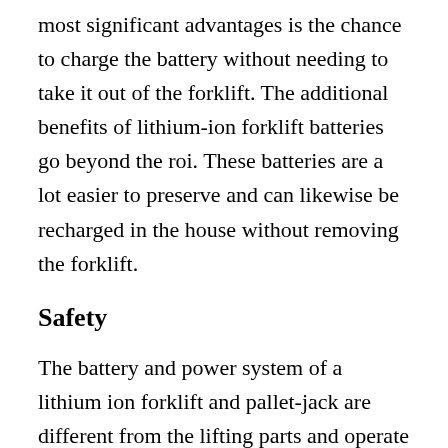most significant advantages is the chance to charge the battery without needing to take it out of the forklift. The additional benefits of lithium-ion forklift batteries go beyond the roi. These batteries are a lot easier to preserve and can likewise be recharged in the house without removing the forklift.
Safety
The battery and power system of a lithium ion forklift and pallet-jack are different from the lifting parts and operate individually. These devices also feature a safety horn, regenerative braking, and an ergonomic